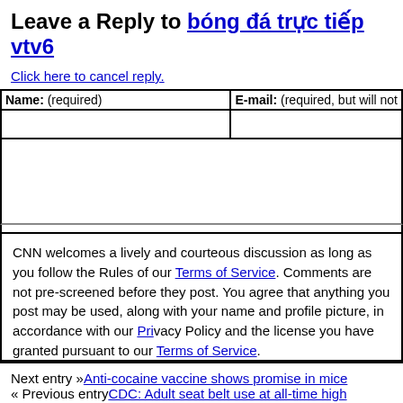Leave a Reply to bóng đá trực tiếp vtv6
Click here to cancel reply.
| Name: (required) | E-mail: (required, but will not be published) |
| --- | --- |
|  |  |
CNN welcomes a lively and courteous discussion as long as you follow the Rules of our Terms of Service. Comments are not pre-screened before they post. You agree that anything you post may be used, along with your name and profile picture, in accordance with our Privacy Policy and the license you have granted pursuant to our Terms of Service.
Next entry »Anti-cocaine vaccine shows promise in mice
« Previous entryCDC: Adult seat belt use at all-time high